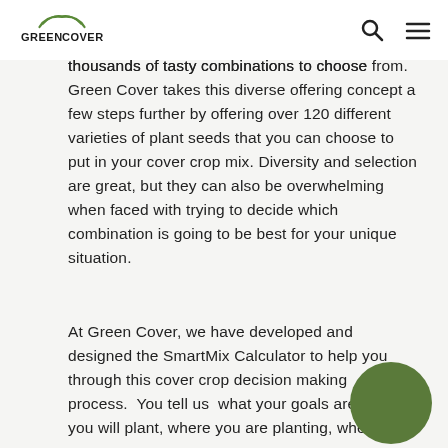GreenCover
thousands of tasty combinations to choose from.  Green Cover takes this diverse offering concept a few steps further by offering over 120 different varieties of plant seeds that you can choose to put in your cover crop mix.  Diversity and selection are great, but they can also be overwhelming when faced with trying to decide which combination is going to be best for your unique situation.
At Green Cover, we have developed and designed the SmartMix Calculator to help you through this cover crop decision making process.  You tell us  what your goals are, how you will plant, where you are planting, when you